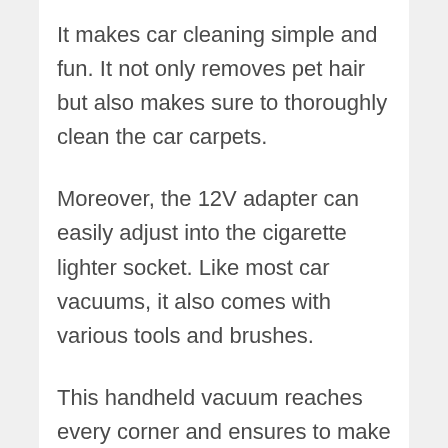It makes car cleaning simple and fun. It not only removes pet hair but also makes sure to thoroughly clean the car carpets.
Moreover, the 12V adapter can easily adjust into the cigarette lighter socket. Like most car vacuums, it also comes with various tools and brushes.
This handheld vacuum reaches every corner and ensures to make your car’s interior shine and polished.